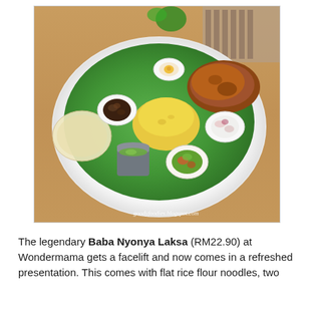[Figure (photo): Overhead photo of a Nasi Lemak or similar Malaysian rice dish served on a banana leaf on a white plate on a wooden table. The plate includes yellow rice, fried chicken, papadum, small side dishes of vegetables, sambal, a boiled egg, and a cup of soup/broth. Watermark reads goodyfoodies.blogspot.com]
The legendary Baba Nyonya Laksa (RM22.90) at Wondermama gets a facelift and now comes in a refreshed presentation. This comes with flat rice flour noodles, two